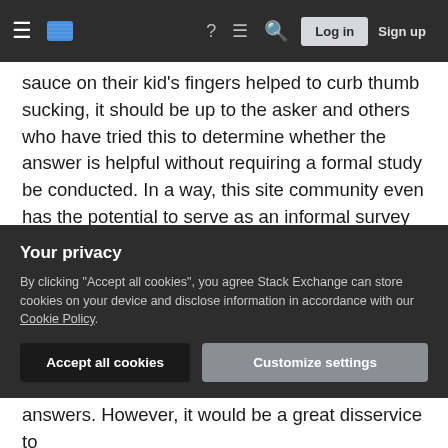Stack Exchange navigation header with hamburger menu, logo, help, chat, search icons, Log in and Sign up buttons
sauce on their kid's fingers helped to curb thumb sucking, it should be up to the asker and others who have tried this to determine whether the answer is helpful without requiring a formal study be conducted. In a way, this site community even has the potential to serve as an informal survey of what works and what doesn't by allowing such answers. Imagine 52 upvotes from parents who tried the Tabasco trick and weened their child of thumb sucking. I believe that to be the spirit of why this Q&A exist and that this is the spirit that will lead it to grow beyond a hate Q&A.
Your privacy
By clicking "Accept all cookies", you agree Stack Exchange can store cookies on your device and disclose information in accordance with our Cookie Policy.
Accept all cookies  Customize settings
answers. However, it would be a great disservice to